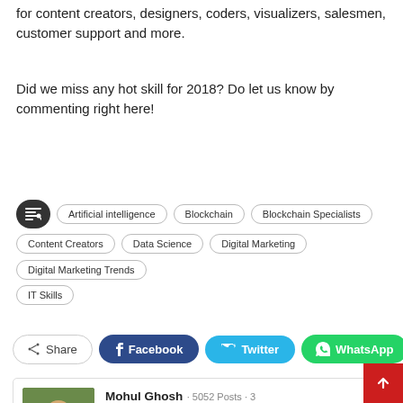for content creators, designers, coders, visualizers, salesmen, customer support and more.
Did we miss any hot skill for 2018? Do let us know by commenting right here!
Tags: Artificial intelligence, Blockchain, Blockchain Specialists, Content Creators, Data Science, Digital Marketing, Digital Marketing Trends, IT Skills
0 comments
Share | Facebook | Twitter | WhatsApp
Mohul Ghosh · 5052 Posts · 3 Comments
Mohul keenly observes the nuances of Indian